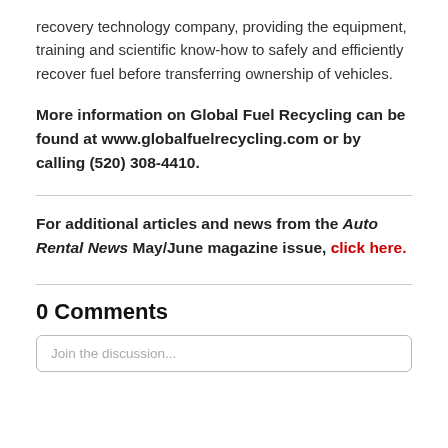recovery technology company, providing the equipment, training and scientific know-how to safely and efficiently recover fuel before transferring ownership of vehicles.
More information on Global Fuel Recycling can be found at www.globalfuelrecycling.com or by calling (520) 308-4410.
For additional articles and news from the Auto Rental News May/June magazine issue, click here.
0 Comments
Join the discussion...